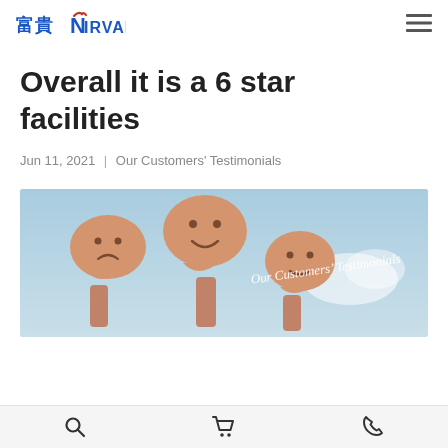富貴 NIRVANA
Overall it is a 6 star facilities
Jun 11, 2021 | Our Customers' Testimonials
[Figure (illustration): Banner image showing three hands holding speech-bubble shaped smiley/sad face cards against a blue sky, with cursive text reading 'Our Customers' Testimonials']
Search | Cart | Phone